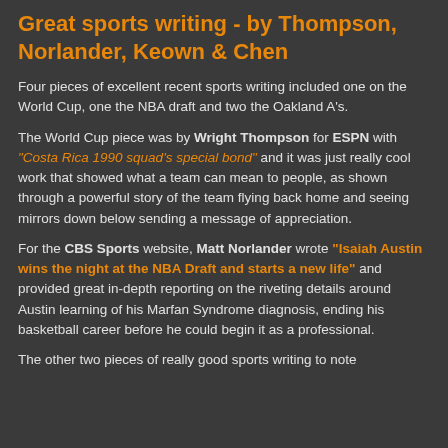Great sports writing - by Thompson, Norlander, Keown & Chen
Four pieces of excellent recent sports writing included one on the World Cup, one the NBA draft and two the Oakland A's.
The World Cup piece was by Wright Thompson for ESPN with "Costa Rica 1990 squad's special bond" and it was just really cool work that showed what a team can mean to people, as shown through a powerful story of the team flying back home and seeing mirrors down below sending a message of appreciation.
For the CBS Sports website, Matt Norlander wrote "Isaiah Austin wins the night at the NBA Draft and starts a new life" and provided great in-depth reporting on the riveting details around Austin learning of his Marfan Syndrome diagnosis, ending his basketball career before he could begin it as a professional.
The other two pieces of really good sports writing to note